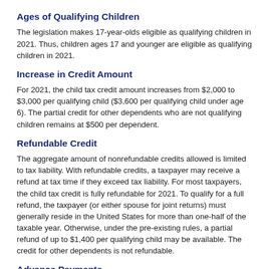Ages of Qualifying Children
The legislation makes 17-year-olds eligible as qualifying children in 2021. Thus, children ages 17 and younger are eligible as qualifying children in 2021.
Increase in Credit Amount
For 2021, the child tax credit amount increases from $2,000 to $3,000 per qualifying child ($3,600 per qualifying child under age 6). The partial credit for other dependents who are not qualifying children remains at $500 per dependent.
Refundable Credit
The aggregate amount of nonrefundable credits allowed is limited to tax liability. With refundable credits, a taxpayer may receive a refund at tax time if they exceed tax liability. For most taxpayers, the child tax credit is fully refundable for 2021. To qualify for a full refund, the taxpayer (or either spouse for joint returns) must generally reside in the United States for more than one-half of the taxable year. Otherwise, under the pre-existing rules, a partial refund of up to $1,400 per qualifying child may be available. The credit for other dependents is not refundable.
Advance Payments
Taxpayers may receive periodic advance payments for up to one-half of the refundable child tax credit during 2021, generally...